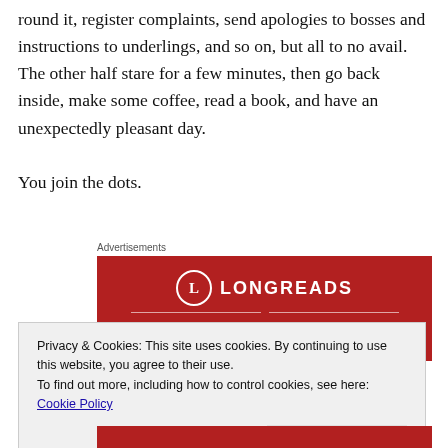round it, register complaints, send apologies to bosses and instructions to underlings, and so on, but all to no avail. The other half stare for a few minutes, then go back inside, make some coffee, read a book, and have an unexpectedly pleasant day.
You join the dots.
Advertisements
[Figure (logo): Longreads advertisement banner with red background, circular L logo, and tagline 'The best stories on...']
Privacy & Cookies: This site uses cookies. By continuing to use this website, you agree to their use.
To find out more, including how to control cookies, see here: Cookie Policy
Close and accept